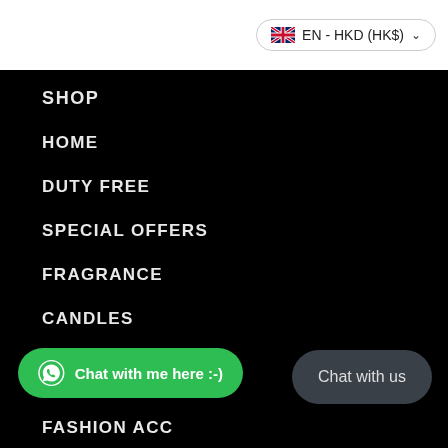[Figure (screenshot): Language/currency selector button showing UK flag, EN - HKD (HK$) with dropdown chevron]
SHOP
HOME
DUTY FREE
SPECIAL OFFERS
FRAGRANCE
CANDLES
[Figure (illustration): Green WhatsApp chat button with text: Chat with me here :-)]
[Figure (illustration): Dark grey rounded button with text: Chat with us]
FASHION ACC